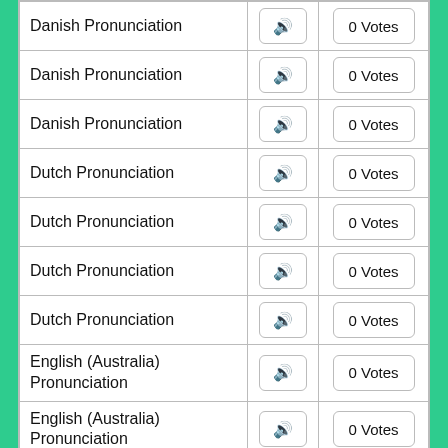| Language | Audio | Votes |
| --- | --- | --- |
| Danish Pronunciation | 🔊 | 0 Votes |
| Danish Pronunciation | 🔊 | 0 Votes |
| Danish Pronunciation | 🔊 | 0 Votes |
| Dutch Pronunciation | 🔊 | 0 Votes |
| Dutch Pronunciation | 🔊 | 0 Votes |
| Dutch Pronunciation | 🔊 | 0 Votes |
| Dutch Pronunciation | 🔊 | 0 Votes |
| English (Australia) Pronunciation | 🔊 | 0 Votes |
| English (Australia) Pronunciation | 🔊 | 0 Votes |
| English (Australia) Pronunciation | 🔊 | 0 Votes |